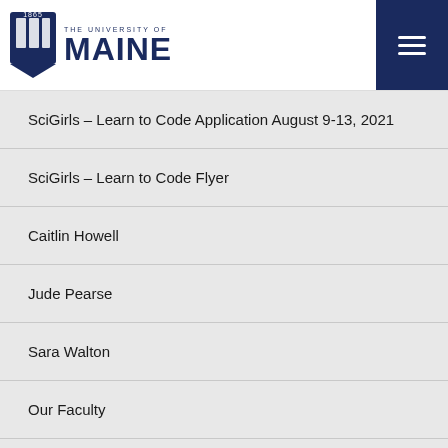THE UNIVERSITY OF MAINE
SciGirls – Learn to Code Application August 9-13, 2021
SciGirls – Learn to Code Flyer
Caitlin Howell
Jude Pearse
Sara Walton
Our Faculty
Meredith Kirkmann
SELF FLIER 2022
SELF 2022 APPLICATION